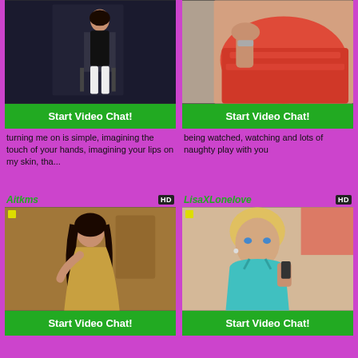[Figure (photo): Woman in black outfit with white boots posing by a dark chair]
Start Video Chat!
turning me on is simple, imagining the touch of your hands, imagining your lips on my skin, tha...
[Figure (photo): Close-up of woman in red lingerie]
Start Video Chat!
being watched, watching and lots of naughty play with you
Aitkms
LisaXLonelove
[Figure (photo): Woman in gold dress posing indoors]
Start Video Chat!
[Figure (photo): Blonde woman in turquoise top taking a selfie]
Start Video Chat!